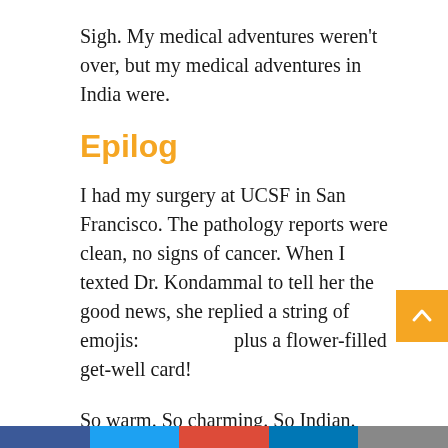Sigh. My medical adventures weren't over, but my medical adventures in India were.
Epilog
I had my surgery at UCSF in San Francisco. The pathology reports were clean, no signs of cancer. When I texted Dr. Kondammal to tell her the good news, she replied a string of emojis:                  plus a flower-filled get-well card!
So warm. So charming. So Indian.
Enjoyed this post? Share it with friends.